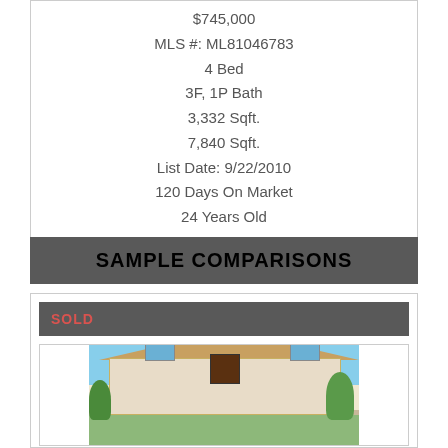$745,000
MLS #: ML81046783
4 Bed
3F, 1P Bath
3,332 Sqft.
7,840 Sqft.
List Date: 9/22/2010
120 Days On Market
24 Years Old
SAMPLE COMPARISONS
SOLD
[Figure (photo): Photo of a two-story stucco house with blue sky and green trees]